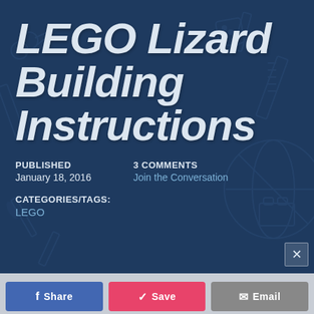[Figure (illustration): Dark blue hero banner background with faint outline doodles of school/craft supplies: pencils, rulers, scissors, dice, LEGO bricks, protractors, paintbrushes]
LEGO Lizard Building Instructions
PUBLISHED
January 18, 2016
3 COMMENTS
Join the Conversation
CATEGORIES/TAGS:
LEGO
[Figure (screenshot): Bottom action bar with Share, Save, and Email buttons partially visible]